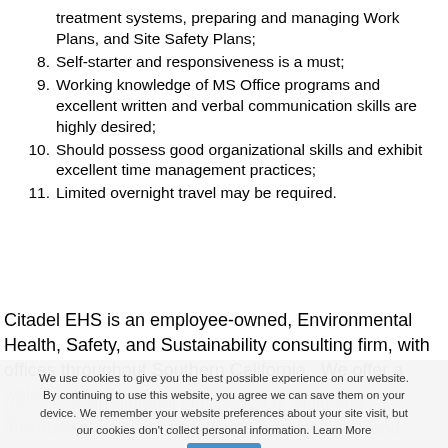treatment systems, preparing and managing Work Plans, and Site Safety Plans;
8. Self-starter and responsiveness is a must;
9. Working knowledge of MS Office programs and excellent written and verbal communication skills are highly desired;
10. Should possess good organizational skills and exhibit excellent time management practices;
11. Limited overnight travel may be required.
Citadel EHS is an employee-owned, Environmental Health, Safety, and Sustainability consulting firm, with offices throughout Southern California.  We offer a wide range of services including engineering and environmental (Indoor Environmental Quality (IEQ), mold and microbial growth investigations), asbestos and lead surveys and monitoring, safety training, IR...
We use cookies to give you the best possible experience on our website. By continuing to use this website, you agree we can save them on your device. We remember your website preferences about your site visit, but our cookies don't collect personal information. Learn More